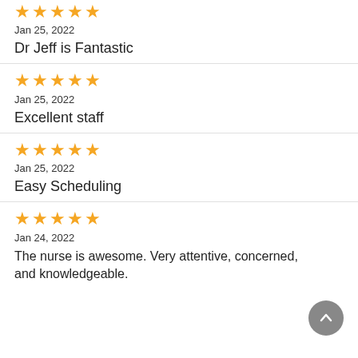[Figure (other): 5 orange stars rating]
Jan 25, 2022
Dr Jeff is Fantastic
[Figure (other): 5 orange stars rating]
Jan 25, 2022
Excellent staff
[Figure (other): 5 orange stars rating]
Jan 25, 2022
Easy Scheduling
[Figure (other): 5 orange stars rating]
Jan 24, 2022
The nurse is awesome. Very attentive, concerned, and knowledgeable.